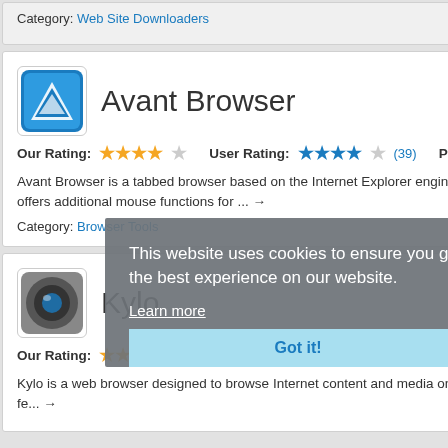Category: Web Site Downloaders
Avant Browser
Our Rating: ★★★★☆  User Rating: ★★★★☆ (39)  Popularity:
Avant Browser is a tabbed browser based on the Internet Explorer engine. You can browse multiple Web sites simultaneously, block popup windows, manage favorites and offers additional mouse functions for ... →
Category: Browser Tools
This website uses cookies to ensure you get the best experience on our website. Learn more  Got it!
Kylo
Our Rating: ★★★★½  User Rating:  Popularity:
Kylo is a web browser designed to browse Internet content and media on a large TV screen. It provides a clutter-free interface that is navigation with large buttons, zoom&pan fe... →